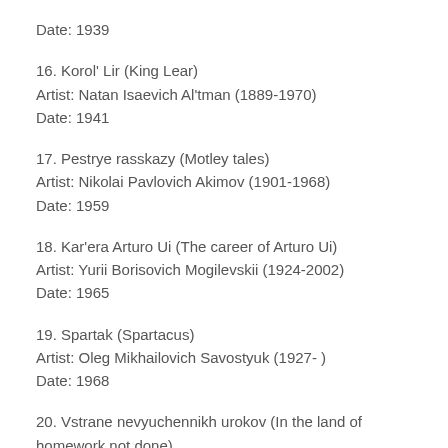Date: 1939
16. Korol' Lir (King Lear)
Artist: Natan Isaevich Al'tman (1889-1970)
Date: 1941
17. Pestrye rasskazy (Motley tales)
Artist: Nikolai Pavlovich Akimov (1901-1968)
Date: 1959
18. Kar'era Arturo Ui (The career of Arturo Ui)
Artist: Yurii Borisovich Mogilevskii (1924-2002)
Date: 1965
19. Spartak (Spartacus)
Artist: Oleg Mikhailovich Savostyuk (1927- )
Date: 1968
20. Vstrane nevyuchennikh urokov (In the land of homework not done)